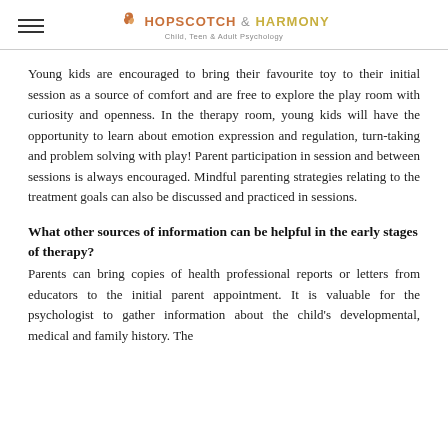HOPSCOTCH & HARMONY Child, Teen & Adult Psychology
Young kids are encouraged to bring their favourite toy to their initial session as a source of comfort and are free to explore the play room with curiosity and openness. In the therapy room, young kids will have the opportunity to learn about emotion expression and regulation, turn-taking and problem solving with play! Parent participation in session and between sessions is always encouraged. Mindful parenting strategies relating to the treatment goals can also be discussed and practiced in sessions.
What other sources of information can be helpful in the early stages of therapy?
Parents can bring copies of health professional reports or letters from educators to the initial parent appointment. It is valuable for the psychologist to gather information about the child's developmental, medical and family history. The